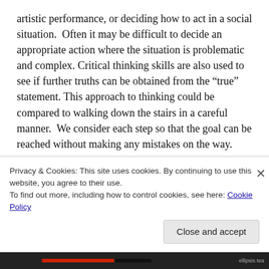artistic performance, or deciding how to act in a social situation.  Often it may be difficult to decide an appropriate action where the situation is problematic and complex. Critical thinking skills are also used to see if further truths can be obtained from the “true” statement. This approach to thinking could be compared to walking down the stairs in a careful manner.  We consider each step so that the goal can be reached without making any mistakes on the way.
This thinking skill is often considered as a personal characteristic: the ultimate goal and purpose of
Privacy & Cookies: This site uses cookies. By continuing to use this website, you agree to their use.
To find out more, including how to control cookies, see here: Cookie Policy
Close and accept